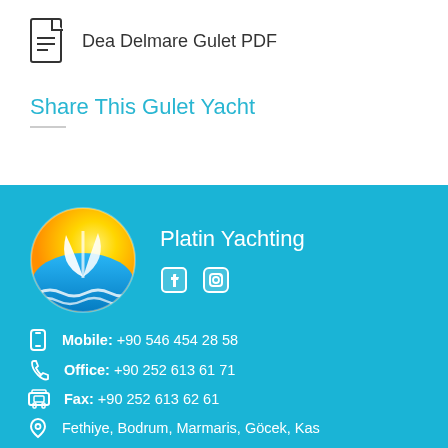Dea Delmare Gulet PDF
Share This Gulet Yacht
[Figure (logo): Platin Yachting logo: circular logo with sun and sailboat over waves]
Platin Yachting
Mobile: +90 546 454 28 58
Office: +90 252 613 61 71
Fax: +90 252 613 62 61
Fethiye, Bodrum, Marmaris, Göcek, Kas